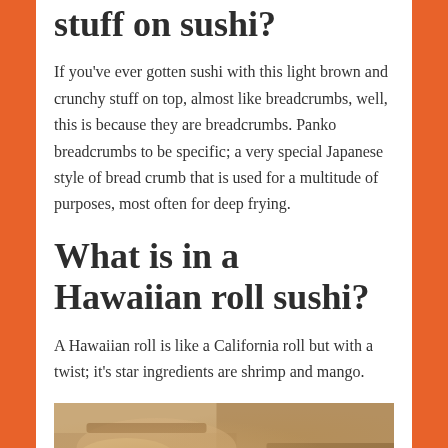stuff on sushi?
If you've ever gotten sushi with this light brown and crunchy stuff on top, almost like breadcrumbs, well, this is because they are breadcrumbs. Panko breadcrumbs to be specific; a very special Japanese style of bread crumb that is used for a multitude of purposes, most often for deep frying.
What is in a Hawaiian roll sushi?
A Hawaiian roll is like a California roll but with a twist; it's star ingredients are shrimp and mango.
[Figure (photo): Person's hands working at a sushi preparation counter]